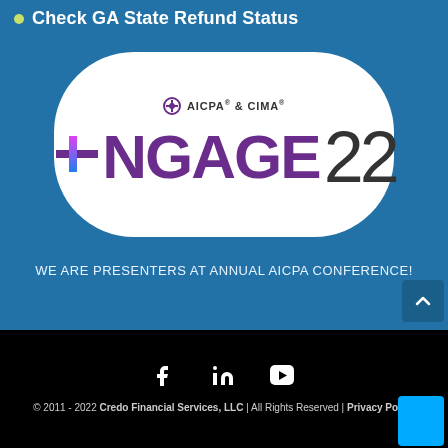Check GA State Refund Status
[Figure (logo): ENGAGE22 AICPA & CIMA conference logo inside a white rounded rectangle on blue background]
WE ARE PRESENTERS AT ANNUAL AICPA CONFERENCE!
© 2011 - 2022 Credo Financial Services, LLC | All Rights Reserved | Privacy Policy